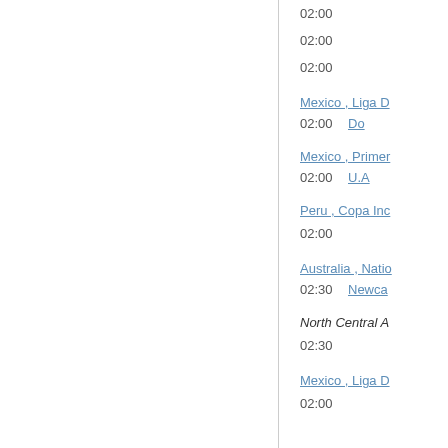02:00
02:00
02:00
Mexico , Liga D
02:00   Do
Mexico , Primer
02:00   U.A
Peru , Copa Inc
02:00
Australia , Natio
02:30   Newca
North Central A
02:30
Mexico , Liga D
02:00